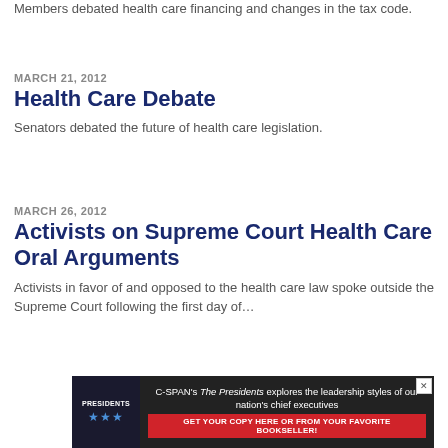Members debated health care financing and changes in the tax code.
MARCH 21, 2012
Health Care Debate
Senators debated the future of health care legislation.
MARCH 26, 2012
Activists on Supreme Court Health Care Oral Arguments
Activists in favor of and opposed to the health care law spoke outside the Supreme Court following the first day of…
[Figure (other): C-SPAN advertisement banner for 'The Presidents' book featuring star imagery and a red call-to-action button.]